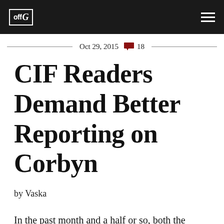off G [navigation logo and hamburger menu]
Oct 29, 2015  18
CIF Readers Demand Better Reporting on Corbyn
by Vaska
In the past month and a half or so, both the Guardian and the Observer have come under